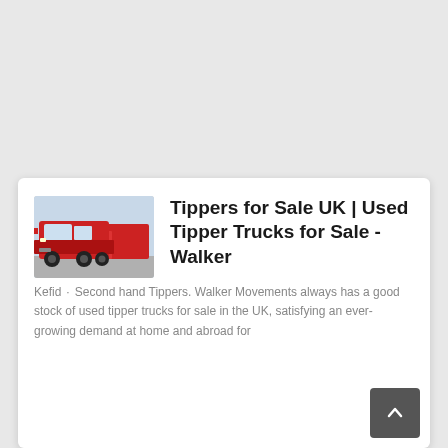[Figure (photo): Red tipper trucks parked in a lot, viewed from the side/front angle]
Tippers for Sale UK | Used Tipper Trucks for Sale - Walker
Kefid · Second hand Tippers. Walker Movements always has a good stock of used tipper trucks for sale in the UK, satisfying an ever-growing demand at home and abroad for